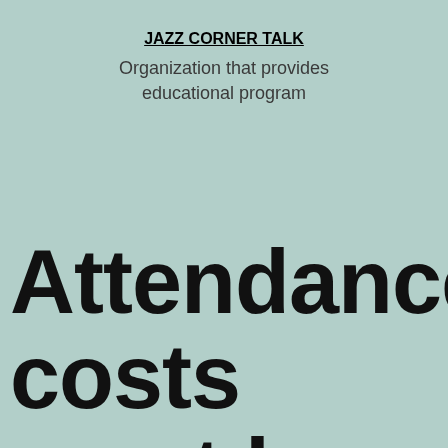JAZZ CORNER TALK
Organization that provides educational program
Attendance costs must be boosted by